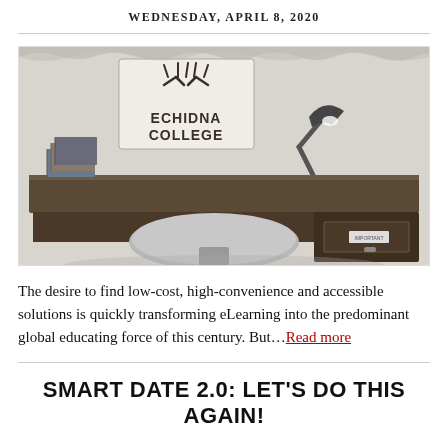WEDNESDAY, APRIL 8, 2020
[Figure (illustration): Black and white illustration of a college desk with books, a desk lamp, and a poster reading 'ECHIDNA COLLEGE' on the wall behind it. A chair is visible in front of the desk.]
The desire to find low-cost, high-convenience and accessible solutions is quickly transforming eLearning into the predominant global educating force of this century. But…Read more
SMART DATE 2.0: LET'S DO THIS AGAIN!